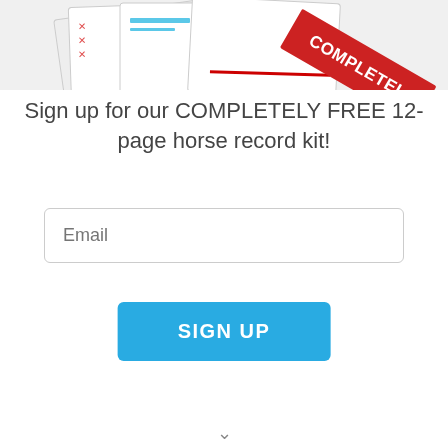[Figure (illustration): A collage of overlapping document/form pages with a red diagonal 'COMPLETELY' ribbon/stamp badge in the upper right corner. Pages appear to be horse record forms.]
Sign up for our COMPLETELY FREE 12-page horse record kit!
Email
SIGN UP